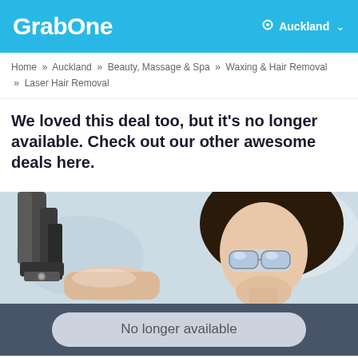GrabOne  Auckland
Home » Auckland » Beauty, Massage & Spa » Waxing & Hair Removal » Laser Hair Removal
We loved this deal too, but it's no longer available. Check out our other awesome deals here.
[Figure (photo): Woman wearing protective goggles undergoing laser hair removal treatment, with a laser device visible in the foreground.]
No longer available
Home  Search  Categories  Cart  Account